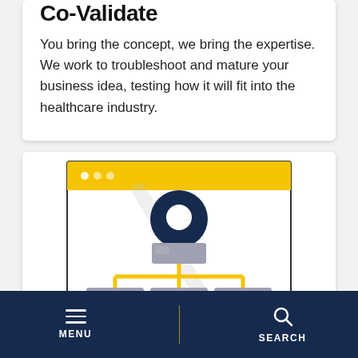Co-Validate
You bring the concept, we bring the expertise. We work to troubleshoot and mature your business idea, testing how it will fit into the healthcare industry.
[Figure (illustration): An illustration of a browser/app window with a yellow header bar containing three dots, featuring a large dark navy location pin icon at the top center, connected by yellow lines to a gray rectangle below, which further connects via yellow lines to three gray rectangles at the bottom — representing an organizational or site map hierarchy. A faint diagonal slash/watermark overlay is visible in the background.]
MENU   SEARCH